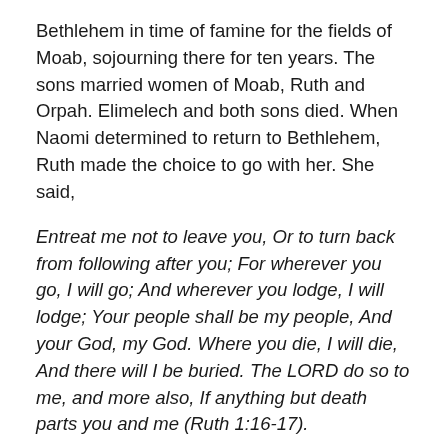Bethlehem in time of famine for the fields of Moab, sojourning there for ten years. The sons married women of Moab, Ruth and Orpah. Elimelech and both sons died. When Naomi determined to return to Bethlehem, Ruth made the choice to go with her. She said,
Entreat me not to leave you, Or to turn back from following after you; For wherever you go, I will go; And wherever you lodge, I will lodge; Your people shall be my people, And your God, my God. Where you die, I will die, And there will I be buried. The LORD do so to me, and more also, If anything but death parts you and me (Ruth 1:16-17).
The text narrates how Ruth met and married Boaz, describing Ruth as a hard worker, showing kindness to her mother-in-law, and known throughout the town as a